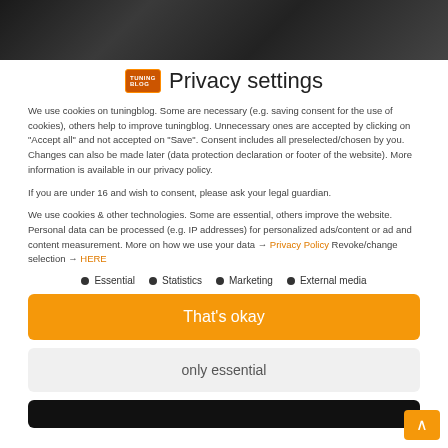[Figure (photo): Dark interior car photo strip at the top of the page]
Privacy settings
We use cookies on tuningblog. Some are necessary (e.g. saving consent for the use of cookies), others help to improve tuningblog. Unnecessary ones are accepted by clicking on "Accept all" and not accepted on "Save". Consent includes all preselected/chosen by you. Changes can also be made later (data protection declaration or footer of the website). More information is available in our privacy policy.
If you are under 16 and wish to consent, please ask your legal guardian.
We use cookies & other technologies. Some are essential, others improve the website. Personal data can be processed (e.g. IP addresses) for personalized ads/content or ad and content measurement. More on how we use your data → Privacy Policy Revoke/change selection → HERE
Essential
Statistics
Marketing
External media
That's okay
only essential